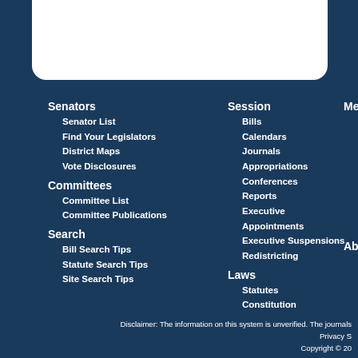Senators
Senator List
Find Your Legislators
District Maps
Vote Disclosures
Committees
Committee List
Committee Publications
Search
Bill Search Tips
Statute Search Tips
Site Search Tips
Session
Bills
Calendars
Journals
Appropriations
Conferences
Reports
Executive
Appointments
Executive Suspensions
Redistricting
Laws
Statutes
Constitution
Laws of Florida
Order - Legistore
Media
Disclaimer: The information on this system is unverified. The journals Privacy S Copyright © 20